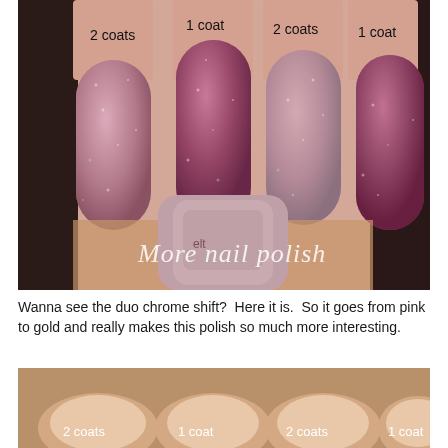[Figure (photo): Close-up photo of four fingernails painted with glittery pink/rose nail polish showing 2 coats and 1 coat alternating, with a nail polish bottle visible in the foreground. Labels '2 coats', '1 coat', '2 coats', '1 coat' appear above the nails. Watermark text 'More nail polish' overlaid on bottom portion.]
Wanna see the duo chrome shift?  Here it is.  So it goes from pink to gold and really makes this polish so much more interesting.
[Figure (photo): Close-up photo of four finger tips painted with a nude/pink nail polish showing the duo chrome shift, with labels '2 coats', '1 coat', '2 coats', '1 coat' overlaid in white text.]